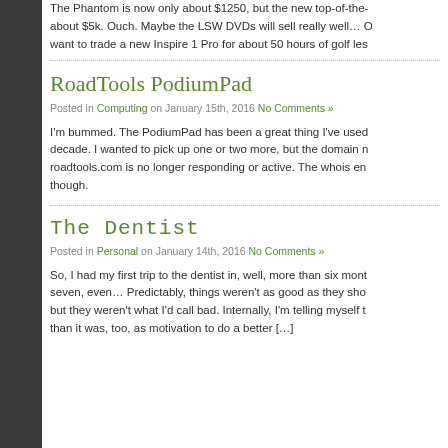The Phantom is now only about $1250, but the new top-of-the-... about $5k. Ouch. Maybe the LSW DVDs will sell really well… O want to trade a new Inspire 1 Pro for about 50 hours of golf les
RoadTools PodiumPad
Posted in Computing on January 15th, 2016 No Comments »
I'm bummed. The PodiumPad has been a great thing I've used... decade. I wanted to pick up one or two more, but the domain n... roadtools.com is no longer responding or active. The whois en... though.
The Dentist
Posted in Personal on January 14th, 2016 No Comments »
So, I had my first trip to the dentist in, well, more than six mont... seven, even… Predictably, things weren't as good as they sho... but they weren't what I'd call bad. Internally, I'm telling myself t... than it was, too, as motivation to do a better […]